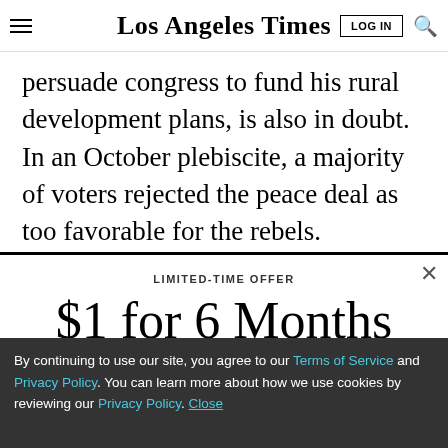Los Angeles Times
persuade congress to fund his rural development plans, is also in doubt. In an October plebiscite, a majority of voters rejected the peace deal as too favorable for the rebels.
LIMITED-TIME OFFER
$1 for 6 Months
SUBSCRIBE NOW
By continuing to use our site, you agree to our Terms of Service and Privacy Policy. You can learn more about how we use cookies by reviewing our Privacy Policy. Close